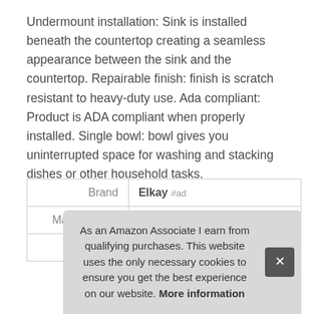Undermount installation: Sink is installed beneath the countertop creating a seamless appearance between the sink and the countertop. Repairable finish: finish is scratch resistant to heavy-duty use. Ada compliant: Product is ADA compliant when properly installed. Single bowl: bowl gives you uninterrupted space for washing and stacking dishes or other household tasks.
|  |  |
| --- | --- |
| Brand | Elkay #ad |
| Manufacturer | Elkay #ad |
| Height | 5.4 Inches |
As an Amazon Associate I earn from qualifying purchases. This website uses the only necessary cookies to ensure you get the best experience on our website. More information